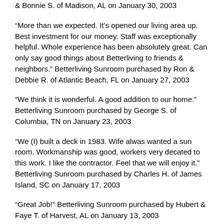& Bonnie S. of Madison, AL on January 30, 2003
“More than we expected. It’s opened our living area up. Best investment for our money. Staff was exceptionally helpful. Whole experience has been absolutely great. Can only say good things about Betterliving to friends & neighbors.” Betterliving Sunroom purchased by Ron & Debbie R. of Atlantic Beach, FL on January 27, 2003
“We think it is wonderful. A good addition to our home.” Betterliving Sunroom purchased by George S. of Columbia, TN on January 23, 2003
“We (I) built a deck in 1983. Wife alwas wanted a sun room. Workmanship was good, workers very decated to this work. I like the contractor. Feel that we will enjoy it.” Betterliving Sunroom purchased by Charles H. of James Island, SC on January 17, 2003
“Great Job!” Betterliving Sunroom purchased by Hubert & Faye T. of Harvest, AL on January 13, 2003